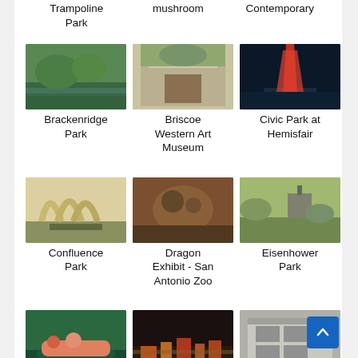Trampoline Park
mushroom
Contemporary
[Figure (photo): Brackenridge Park - green park with water reflection]
Brackenridge Park
[Figure (photo): Briscoe Western Art Museum - museum building exterior]
Briscoe Western Art Museum
[Figure (photo): Civic Park at Hemisfair - red sculpture at night]
Civic Park at Hemisfair
[Figure (photo): Confluence Park - architectural arches outdoor]
Confluence Park
[Figure (photo): Dragon Exhibit - San Antonio Zoo - dragon sculpture]
Dragon Exhibit - San Antonio Zoo
[Figure (photo): Eisenhower Park - park trail with trees]
Eisenhower Park
[Figure (photo): GO RIO San Antonio - river boat tour]
GO RIO San
[Figure (photo): Go City® - colorful river walk at night]
Go City® -
[Figure (photo): Guinness - building exterior]
Guinness